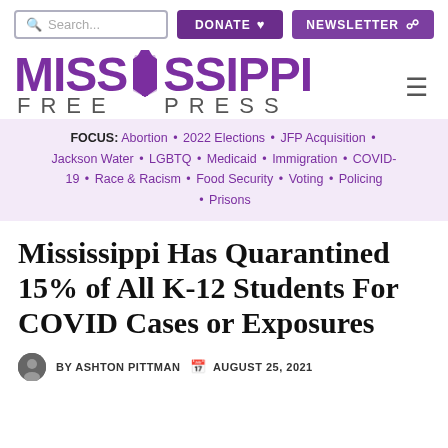Search... | DONATE ♥ | NEWSLETTER
[Figure (logo): Mississippi Free Press logo with purple bold MISSISSIPPI text and FREE PRESS below in grey spaced letters]
FOCUS: Abortion • 2022 Elections • JFP Acquisition • Jackson Water • LGBTQ • Medicaid • Immigration • COVID-19 • Race & Racism • Food Security • Voting • Policing • Prisons
Mississippi Has Quarantined 15% of All K-12 Students For COVID Cases or Exposures
BY ASHTON PITTMAN   AUGUST 25, 2021